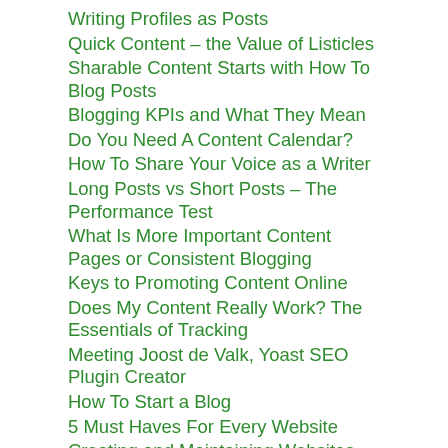Writing Profiles as Posts
Quick Content – the Value of Listicles
Sharable Content Starts with How To Blog Posts
Blogging KPIs and What They Mean
Do You Need A Content Calendar?
How To Share Your Voice as a Writer
Long Posts vs Short Posts – The Performance Test
What Is More Important Content Pages or Consistent Blogging
Keys to Promoting Content Online
Does My Content Really Work? The Essentials of Tracking
Meeting Joost de Valk, Yoast SEO Plugin Creator
How To Start a Blog
5 Must Haves For Every Website
Creating and Maintaining Websites
While Mobile